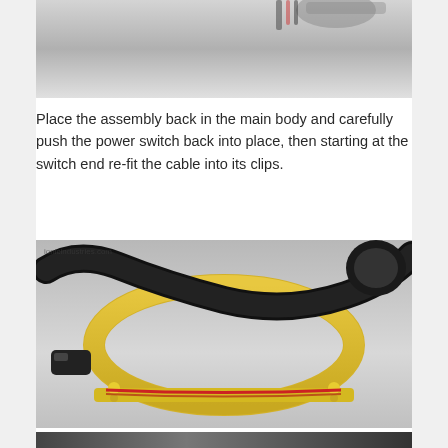[Figure (photo): Partial view of a device assembly component from above, showing wiring and connector area against a light background]
Place the assembly back in the main body and carefully push the power switch back into place, then starting at the switch end re-fit the cable into its clips.
[Figure (photo): Photo of a yellow plastic frame/bracket with a black cable/tube routed through it, red wiring visible along the bottom rail. Watermark reads 'ionicindustries.com']
[Figure (photo): Partial view of another assembly component at the bottom of the page, dark colored hardware]